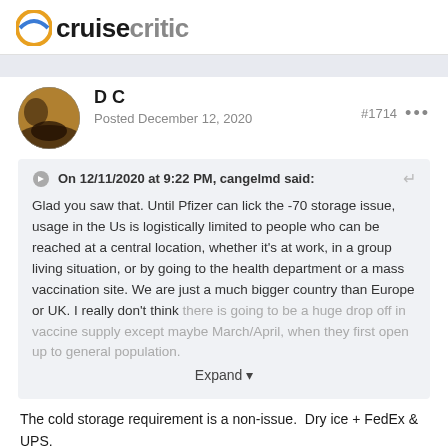cruisecritic
D C
Posted December 12, 2020
#1714
On 12/11/2020 at 9:22 PM, cangelmd said:
Glad you saw that. Until Pfizer can lick the -70 storage issue, usage in the Us is logistically limited to people who can be reached at a central location, whether it's at work, in a group living situation, or by going to the health department or a mass vaccination site. We are just a much bigger country than Europe or UK. I really don't think there is going to be a huge drop off in vaccine supply except maybe March/April, when they first open up to general population.
Expand
The cold storage requirement is a non-issue.  Dry ice + FedEx & UPS.